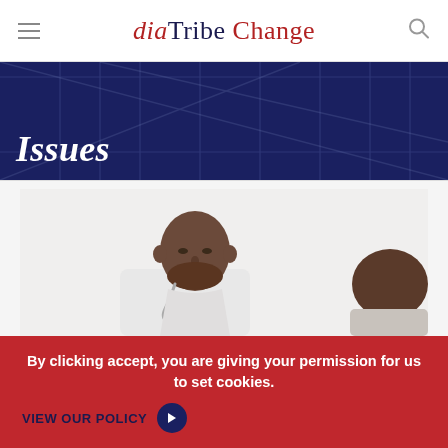diaTribe Change
[Figure (illustration): Dark blue hero banner with architectural background (columned building), titled 'Issues' in white italic serif text]
Issues
[Figure (photo): Photo of a Black man with a beard wearing a white shirt and stethoscope, looking downward; another person partially visible at the right.]
By clicking accept, you are giving your permission for us to set cookies.
VIEW OUR POLICY